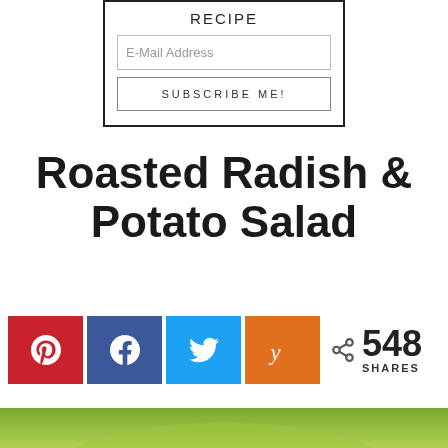RECIPE
E-Mail Address
SUBSCRIBE ME!
Roasted Radish & Potato Salad
[Figure (other): Social share buttons: Pinterest (red), Facebook (blue), Twitter (light blue), Yummly (orange), with share count showing 548 SHARES]
[Figure (photo): Bottom portion of a food photo showing green background, likely the roasted radish and potato salad dish]